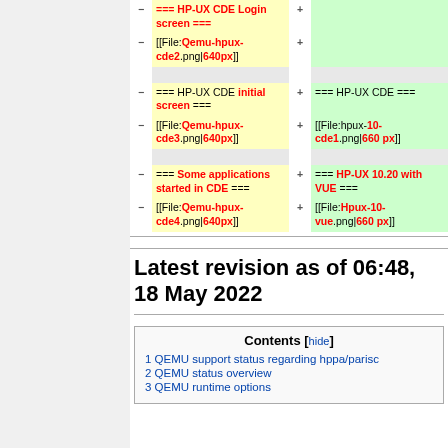| -/+ | Deleted | -/+ | Added |
| --- | --- | --- | --- |
| − | === HP-UX CDE Login screen === | + |  |
| − | [[File:Qemu-hpux-cde2.png|640px]] | + |  |
|  |  |  |  |
| − | === HP-UX CDE initial screen === | + | === HP-UX CDE === |
| − | [[File:Qemu-hpux-cde3.png|640px]] | + | [[File:hpux-10-cde1.png|660 px]] |
|  |  |  |  |
| − | === Some applications started in CDE === | + | === HP-UX 10.20 with VUE === |
| − | [[File:Qemu-hpux-cde4.png|640px]] | + | [[File:Hpux-10-vue.png|660 px]] |
Latest revision as of 06:48, 18 May 2022
| Contents |
| --- |
| 1 QEMU support status regarding hppa/parisc |
| 2 QEMU status overview |
| 3 QEMU runtime options |